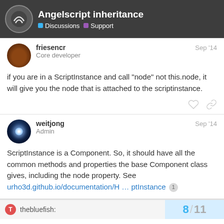Angelscript inheritance — Discussions Support
friesencr Sep '14
Core developer
if you are in a ScriptInstance and call "node" not this.node, it will give you the node that is attached to the scriptinstance.
weitjong Sep '14
Admin
ScriptInstance is a Component. So, it should have all the common methods and properties the base Component class gives, including the node property. See urho3d.github.io/documentation/H … ptInstance
thebluefish: 8 / 11